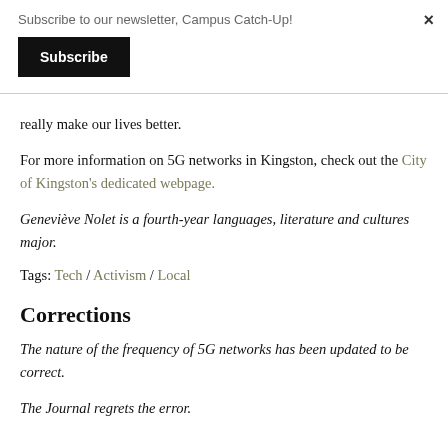Subscribe to our newsletter, Campus Catch-Up!
Subscribe
really make our lives better.
For more information on 5G networks in Kingston, check out the City of Kingston's dedicated webpage.
Geneviève Nolet is a fourth-year languages, literature and cultures major.
Tags: Tech / Activism / Local
Corrections
The nature of the frequency of 5G networks has been updated to be correct.
The Journal regrets the error.